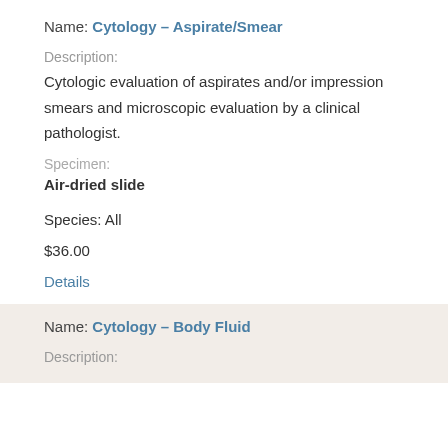Name: Cytology – Aspirate/Smear
Description:
Cytologic evaluation of aspirates and/or impression smears and microscopic evaluation by a clinical pathologist.
Specimen:
Air-dried slide
Species: All
$36.00
Details
Name: Cytology – Body Fluid
Description: